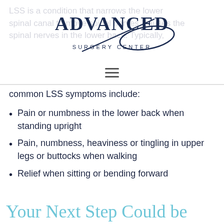[Figure (logo): Advanced Surgery Center logo with stylized text and surgical instrument graphic]
LSS is a condition that narrows the lower spinal canal to move spinal nerves, causes the spinal nerves in the lower back. Typically, common LSS symptoms include:
Pain or numbness in the lower back when standing upright
Pain, numbness, heaviness or tingling in upper legs or buttocks when walking
Relief when sitting or bending forward
Your Next Step Could be